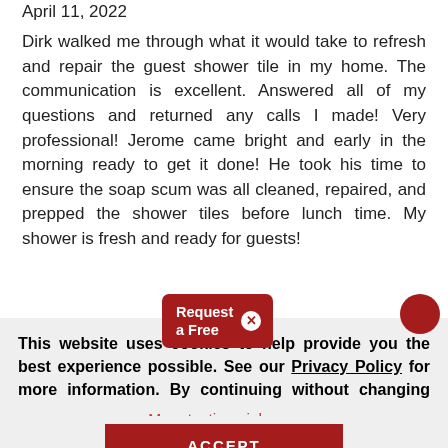April 11, 2022
Dirk walked me through what it would take to refresh and repair the guest shower tile in my home. The communication is excellent. Answered all of my questions and returned any calls I made! Very professional! Jerome came bright and early in the morning ready to get it done! He took his time to ensure the soap scum was all cleaned, repaired, and prepped the shower tiles before lunch time. My shower is fresh and ready for guests!
This website uses cookies to help provide you the best experience possible. See our Privacy Policy for more information. By continuing without changing your cookie settings within your browser, you are agreeing to our use of cookies.
More testimonials »
ACCEPT